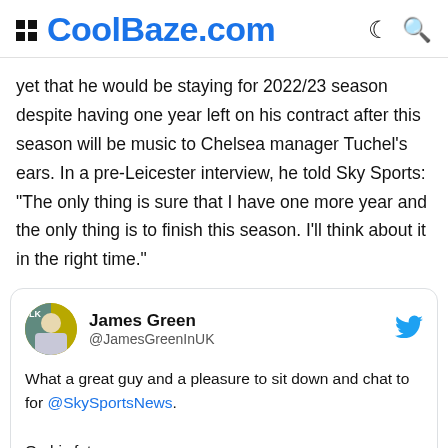CoolBaze.com
yet that he would be staying for 2022/23 season despite having one year left on his contract after this season will be music to Chelsea manager Tuchel's ears. In a pre-Leicester interview, he told Sky Sports: “The only thing is sure that I have one more year and the only thing is to finish this season. I’ll think about it in the right time.”
[Figure (screenshot): Embedded tweet from James Green (@JamesGreenInUK) with Twitter bird icon, avatar photo, tweet text: 'What a great guy and a pleasure to sit down and chat to for @SkySportsNews. On his future: "The only thing is sure that I have one more']
What a great guy and a pleasure to sit down and chat to for @SkySportsNews.

On his future:
"The only thing is sure that I have one more